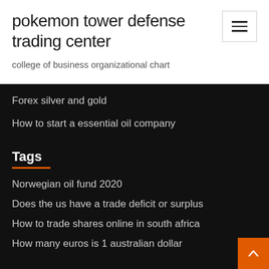pokemon tower defense trading center
college of business organizational chart
Forex silver and gold
How to start a essential oil company
Tags
Norwegian oil fund 2020
Does the us have a trade deficit or surplus
How to trade shares online in south africa
How many euros is 1 australian dollar